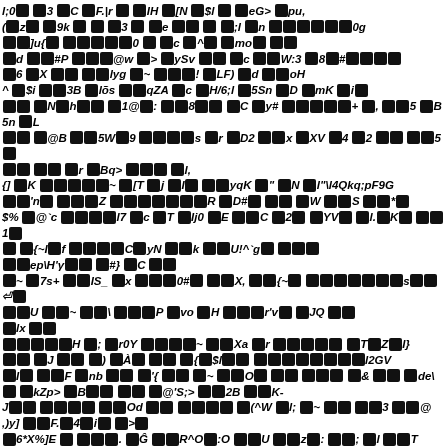Corrupted/encoded text block with mixed ASCII characters and redacted/corrupt character blocks throughout the page. Content appears to be garbled encoded data or a rendering artifact from a corrupted PDF.